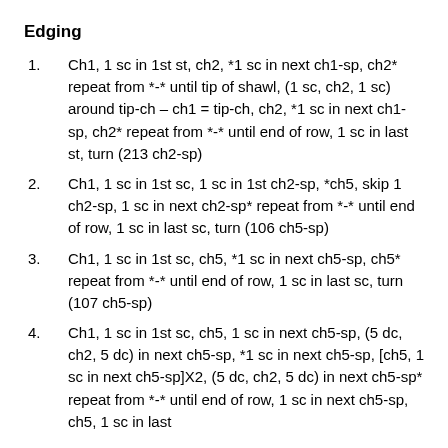Edging
Ch1, 1 sc in 1st st, ch2, *1 sc in next ch1-sp, ch2* repeat from *-* until tip of shawl, (1 sc, ch2, 1 sc) around tip-ch – ch1 = tip-ch, ch2, *1 sc in next ch1-sp, ch2* repeat from *-* until end of row, 1 sc in last st, turn (213 ch2-sp)
Ch1, 1 sc in 1st sc, 1 sc in 1st ch2-sp, *ch5, skip 1 ch2-sp, 1 sc in next ch2-sp* repeat from *-* until end of row, 1 sc in last sc, turn (106 ch5-sp)
Ch1, 1 sc in 1st sc, ch5, *1 sc in next ch5-sp, ch5* repeat from *-* until end of row, 1 sc in last sc, turn (107 ch5-sp)
Ch1, 1 sc in 1st sc, ch5, 1 sc in next ch5-sp, (5 dc, ch2, 5 dc) in next ch5-sp, *1 sc in next ch5-sp, [ch5, 1 sc in next ch5-sp]X2, (5 dc, ch2, 5 dc) in next ch5-sp* repeat from *-* until end of row, 1 sc in next ch5-sp, ch5, 1 sc in last